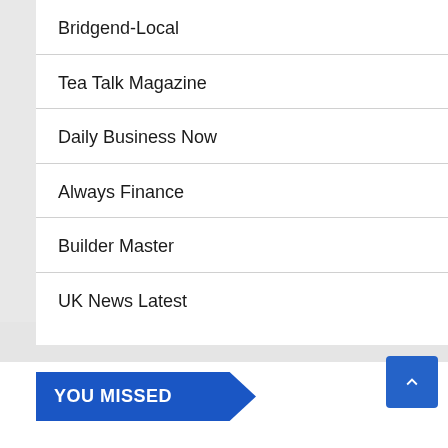Bridgend-Local
Tea Talk Magazine
Daily Business Now
Always Finance
Builder Master
UK News Latest
YOU MISSED